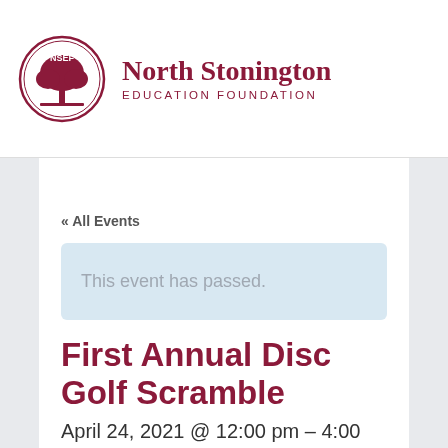[Figure (logo): North Stonington Education Foundation circular logo with tree and NSEF text]
North Stonington EDUCATION FOUNDATION
« All Events
This event has passed.
First Annual Disc Golf Scramble
April 24, 2021 @ 12:00 pm – 4:00